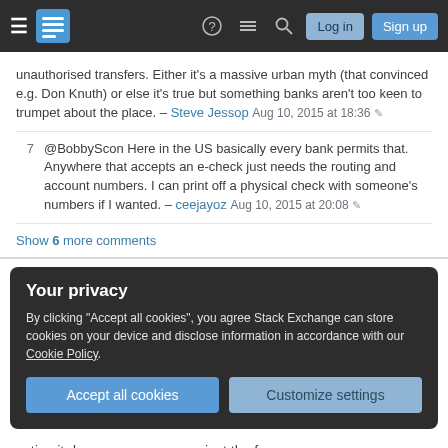Stack Exchange navigation bar with Log in and Sign up buttons
unauthorised transfers. Either it's a massive urban myth (that convinced e.g. Don Knuth) or else it's true but something banks aren't too keen to trumpet about the place. – Steve Jessop Aug 10, 2015 at 18:36
7 @BobbyScon Here in the US basically every bank permits that. Anywhere that accepts an e-check just needs the routing and account numbers. I can print off a physical check with someone's numbers if I wanted. – ceejayoz Aug 10, 2015 at 20:08
Show 6 more comments
Your privacy
By clicking "Accept all cookies", you agree Stack Exchange can store cookies on your device and disclose information in accordance with our Cookie Policy.
Accept all cookies   Customize settings
action it deems necessary against the forger.